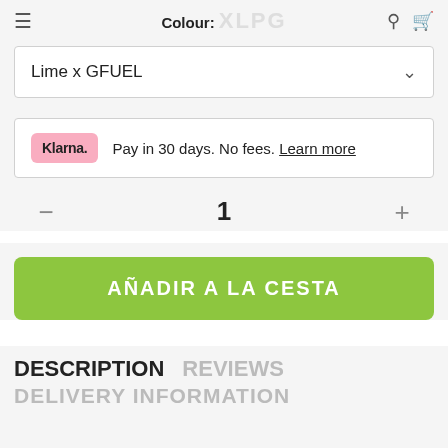Colour: XLPG
Lime x GFUEL
Klarna. Pay in 30 days. No fees. Learn more
1
AÑADIR A LA CESTA
DESCRIPTION  REVIEWS
DELIVERY INFORMATION